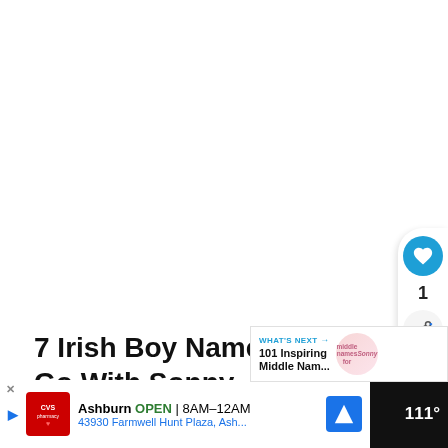7 Irish Boy Names That Go With Sonny
WHAT'S NEXT → 101 Inspiring Middle Nam...
[Figure (infographic): White blank content area at top of webpage with floating heart/share action buttons on right side]
[Figure (infographic): CVS Pharmacy advertisement bar: Ashburn OPEN 8AM-12AM, 43930 Farmwell Hunt Plaza, Ash...]